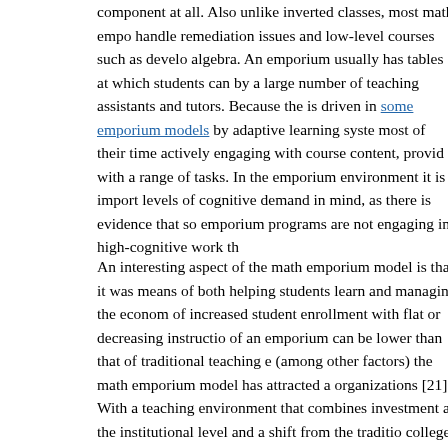component at all. Also unlike inverted classes, most math empo handle remediation issues and low-level courses such as develo algebra. An emporium usually has tables at which students can by a large number of teaching assistants and tutors. Because the is driven in some emporium models by adaptive learning system most of their time actively engaging with course content, provid with a range of tasks. In the emporium environment it is import levels of cognitive demand in mind, as there is evidence that so emporium programs are not engaging in high-cognitive work th
An interesting aspect of the math emporium model is that it was means of both helping students learn and managing the econom of increased student enrollment with flat or decreasing instructio of an emporium can be lower than that of traditional teaching e (among other factors) the math emporium model has attracted a organizations [21]. With a teaching environment that combines investment at the institutional level and a shift from the traditio college classes are built, it is not surprising that the emporium in the mathematical community than techniques like classroom